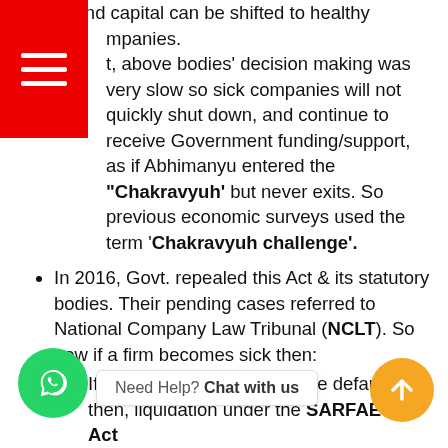labour and capital can be shifted to healthy companies.
t, above bodies' decision making was very slow so sick companies will not quickly shut down, and continue to receive Government funding/support, as if Abhimanyu entered the "Chakravyuh' but never exits. So previous economic surveys used the term 'Chakravyuh challenge'.
In 2016, Govt. repealed this Act & its statutory bodies. Their pending cases referred to National Company Law Tribunal (NCLT). So now if a firm becomes sick then:
If wilful defaulter or incapable defaulter then, liquidation under the SARFAESI Act
Otherwise I&B Code: IP will make a resolution plan within "specified" number of days. If IP's plan is not agreeable to the lenders, liquidation.
If a startup company wants to (voluntarily) shut down, it can do so easily through I&B Code. It will...